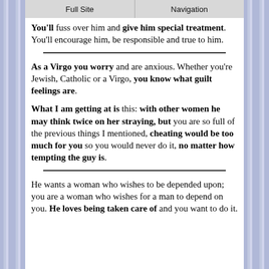Full Site | Navigation
You'll fuss over him and give him special treatment. You'll encourage him, be responsible and true to him.
As a Virgo you worry and are anxious. Whether you're Jewish, Catholic or a Virgo, you know what guilt feelings are.
What I am getting at is this: with other women he may think twice on her straying, but you are so full of the previous things I mentioned, cheating would be too much for you so you would never do it, no matter how tempting the guy is.
He wants a woman who wishes to be depended upon; you are a woman who wishes for a man to depend on you. He loves being taken care of and you want to do it.